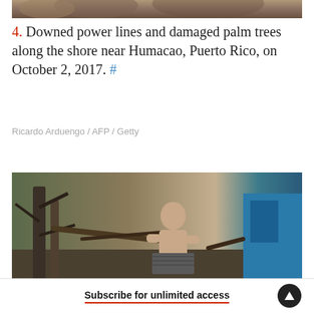[Figure (photo): Top portion of a photo showing downed palm trees near Humacao, Puerto Rico after hurricane damage — only the bottom sliver is visible]
4. Downed power lines and damaged palm trees along the shore near Humacao, Puerto Rico, on October 2, 2017. #
Ricardo Arduengo / AFP / Getty
[Figure (photo): An elderly shirtless man standing amid storm debris and fallen trees, holding what appears to be a piece of corrugated metal, with a blue wall visible in the background]
Subscribe for unlimited access